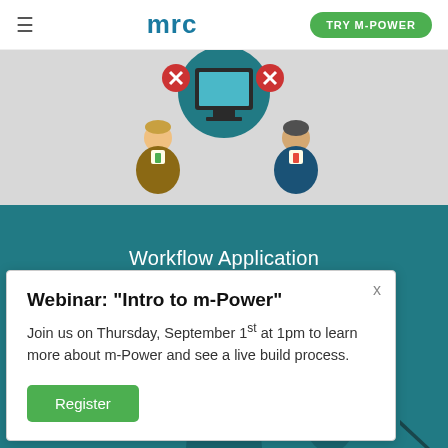mrc | TRY M-POWER
[Figure (illustration): Hero illustration showing two user icons (a person in a brown suit and a person in a blue suit) on a gray background with a computer monitor and teal globe graphic.]
Workflow Application Demo
Webinar: "Intro to m-Power"
Join us on Thursday, September 1st at 1pm to learn more about m-Power and see a live build process.
Register